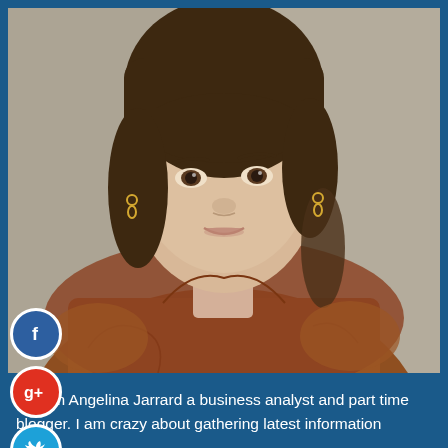[Figure (photo): Portrait photo of a young woman with brown hair pulled up, bangs, wearing gold hoop earrings and a rust/terracotta colored blouse, photographed against a grey concrete wall background]
[Figure (infographic): Four circular social media icon buttons arranged vertically on the left side: Facebook (blue circle with 'f'), Google+ (red circle with 'g+'), Twitter (cyan/blue circle with bird icon), and a cyan/blue circle with '+' symbol]
Hi I am Angelina Jarrard a business analyst and part time blogger. I am crazy about gathering latest information